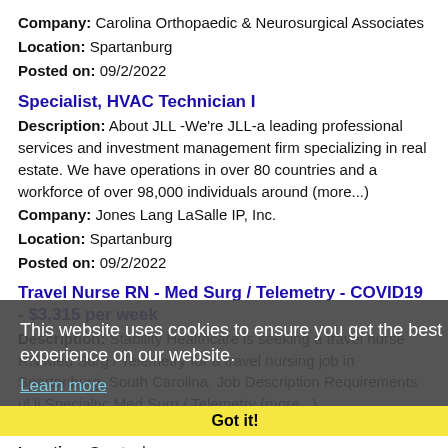Company: Carolina Orthopaedic & Neurosurgical Associates
Location: Spartanburg
Posted on: 09/2/2022
Specialist, HVAC Technician I
Description: About JLL -We're JLL-a leading professional services and investment management firm specializing in real estate. We have operations in over 80 countries and a workforce of over 98,000 individuals around (more...)
Company: Jones Lang LaSalle IP, Inc.
Location: Spartanburg
Posted on: 09/2/2022
Travel Nurse RN - Med Surg / Telemetry - COVID19 - $3,315 per week
Description: Stability Healthcare is seeking a travel nurse RN Med Surg / Telemetry for a travel nursing job in Spartanburg, South Carolina. Job Description Requirements ul li Specialty: Med Surg / Telemetry (more...)
Company: Stability Healthcare
Location: Spartanburg
Posted on: 09/2/2022
This website uses cookies to ensure you get the best experience on our website.
Learn more
Got it!
Physician / Anesthesiology / South Carolina / Locum